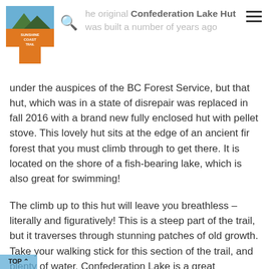he original Confederation Lake Hut was built a number of years ago under the auspices of the BC Forest Service, but that hut, which was in a state of disrepair was replaced in fall 2016 with a brand new fully enclosed hut with pellet stove.
T he original Confederation Lake Hut was built a number of years ago under the auspices of the BC Forest Service, but that hut, which was in a state of disrepair was replaced in fall 2016 with a brand new fully enclosed hut with pellet stove. This lovely hut sits at the edge of an ancient fir forest that you must climb through to get there. It is located on the shore of a fish-bearing lake, which is also great for swimming!
The climb up to this hut will leave you breathless – literally and figuratively! This is a steep part of the trail, but it traverses through stunning patches of old growth. Take your walking stick for this section of the trail, and plenty of water. Confederation Lake is a great destination for a day hike. Take a lunch and make the hut your half-way point, either going back